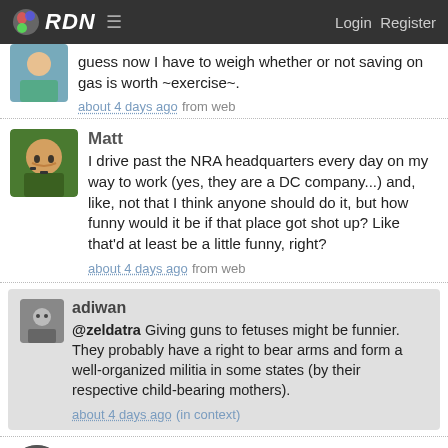RDN  Login  Register
guess now I have to weigh whether or not saving on gas is worth ~exercise~.
about 4 days ago from web
Matt
I drive past the NRA headquarters every day on my way to work (yes, they are a DC company...) and, like, not that I think anyone should do it, but how funny would it be if that place got shot up? Like that'd at least be a little funny, right?
about 4 days ago from web
adiwan
@zeldatra Giving guns to fetuses might be funnier. They probably have a right to bear arms and form a well-organized militia in some states (by their respective child-bearing mothers).
about 4 days ago (in context)
Matt